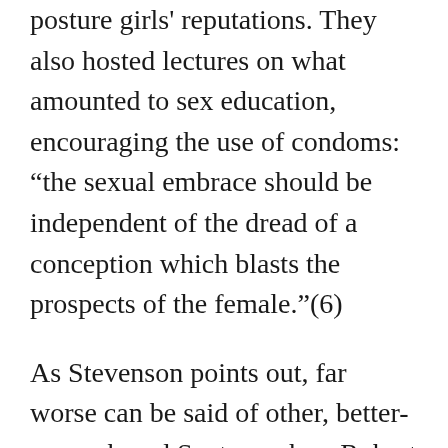posture girls' reputations. They also hosted lectures on what amounted to sex education, encouraging the use of condoms: “the sexual embrace should be independent of the dread of a conception which blasts the prospects of the female.”(6)
As Stevenson points out, far worse can be said of other, better-remembered Scots, such as Robert Burns, whose affairs led to illegitimate children and untimely ends for the